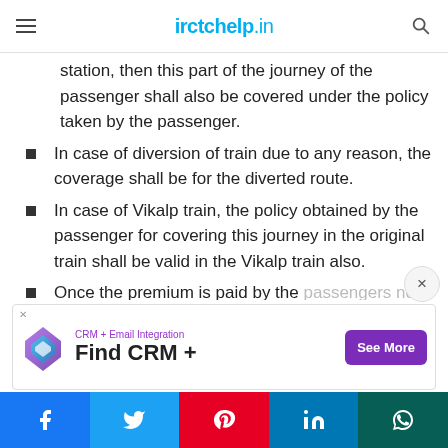irctchelp.in
station, then this part of the journey of the passenger shall also be covered under the policy taken by the passenger.
In case of diversion of train due to any reason, the coverage shall be for the diverted route.
In case of Vikalp train, the policy obtained by the passenger for covering this journey in the original train shall be valid in the Vikalp train also.
Once the premium is paid by the passengers no cancellations is allowed
[Figure (screenshot): Advertisement banner: CRM + Email Integration — Find CRM + with See More button]
Facebook | Twitter | Pinterest | LinkedIn | WhatsApp social share bar